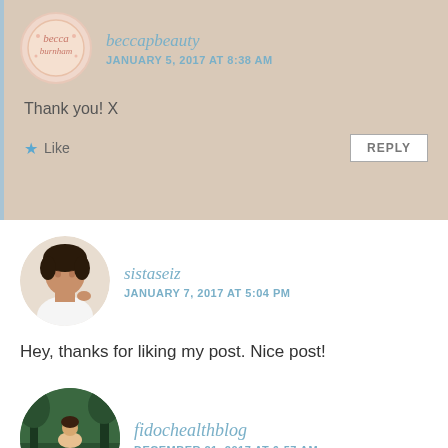beccapbeauty
JANUARY 5, 2017 AT 8:38 AM
Thank you! X
Like
REPLY
sistaseiz
JANUARY 7, 2017 AT 5:04 PM
Hey, thanks for liking my post. Nice post!
Liked by 1 person
REPLY
fidochealthblog
DECEMBER 21, 2017 AT 6:57 AM